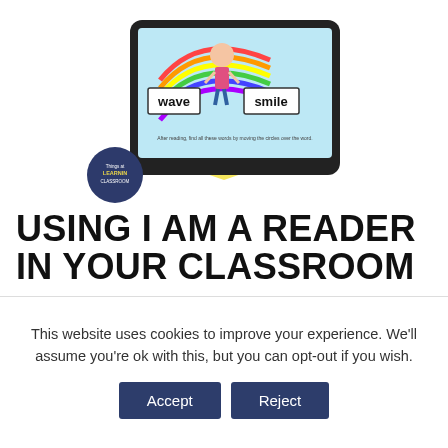[Figure (illustration): Educational illustration showing a tablet/digital device with the words 'wave' and 'smile' displayed, a cartoon child with rainbow, yellow star/banner shape, and a circular logo badge at bottom left reading 'Things in Learning Classroom']
USING I AM A READER IN YOUR CLASSROOM
This resource comes with so much versatility. You can use
This website uses cookies to improve your experience. We'll assume you're ok with this, but you can opt-out if you wish.